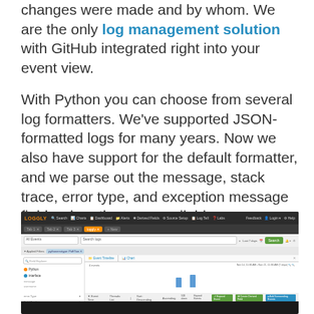changes were made and by whom. We are the only log management solution with GitHub integrated right into your event view.
With Python you can choose from several log formatters. We've supported JSON-formatted logs for many years. Now we also have support for the default formatter, and we parse out the message, stack trace, error type, and exception message fields when they are available.
[Figure (screenshot): Screenshot of the Loggly log management interface showing search filters, a log event timeline bar chart with spikes, and log entries with Python error details including stack traces and field values.]